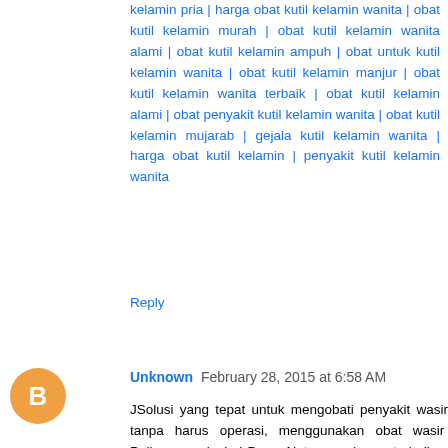kelamin pria | harga obat kutil kelamin wanita | obat kutil kelamin murah | obat kutil kelamin wanita alami | obat kutil kelamin ampuh | obat untuk kutil kelamin wanita | obat kutil kelamin manjur | obat kutil kelamin wanita terbaik | obat kutil kelamin alami | obat penyakit kutil kelamin wanita | obat kutil kelamin mujarab | gejala kutil kelamin wanita | harga obat kutil kelamin | penyakit kutil kelamin wanita
Reply
Unknown February 28, 2015 at 6:58 AM
JSolusi yang tepat untuk mengobati penyakit wasir tanpa harus operasi, menggunakan obat wasir Paling ampuh dari De Nature dan terbaik ada hanya di http://obatwasirme.blogspot.com untuk mendapatkan informasi yang lebih jelas mengenai pengobatan wasir silahkan kontak langsung di nomer 0852 808 77 999 atau 0859 7373 5656 Bagaimana mengobati Ambeien itu sendiri. pengobatan yang terbaik untuk Ambeien adalah dari luar dan dalam sehingga Ambeien benar benar tuntas dan tidak akan kambuh lagi. obat Ambeien terbaik "Ambeclear dari De Nature". Adalah obat Ambeien herbal